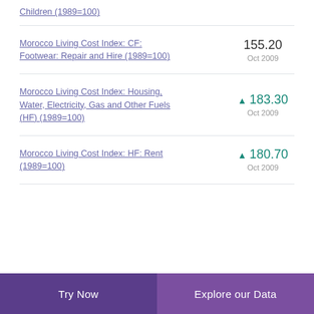Children (1989=100)
Morocco Living Cost Index: CF: Footwear: Repair and Hire (1989=100) — 155.20, Oct 2009
Morocco Living Cost Index: Housing, Water, Electricity, Gas and Other Fuels (HF) (1989=100) — ▲ 183.30, Oct 2009
Morocco Living Cost Index: HF: Rent (1989=100) — ▲ 180.70, Oct 2009
Try Now | Explore our Data